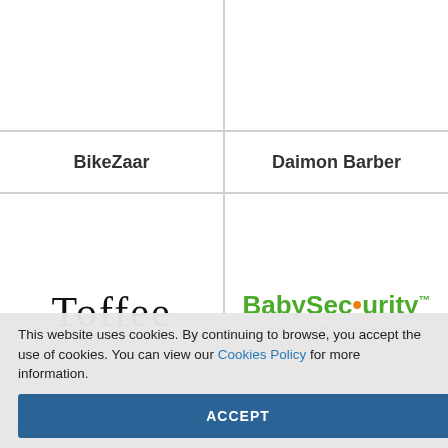[Figure (logo): Empty white card (top-left, partially visible)]
[Figure (logo): Empty white card (top-right, partially visible)]
BikeZaar
Daimon Barber
[Figure (logo): Toffee logo in serif font]
[Figure (logo): BabySecurity Infant Care Specialist logo in green and orange]
Toffee
BabySecurity
This website uses cookies. By continuing to browse, you accept the use of cookies. You can view our Cookies Policy for more information.
ACCEPT